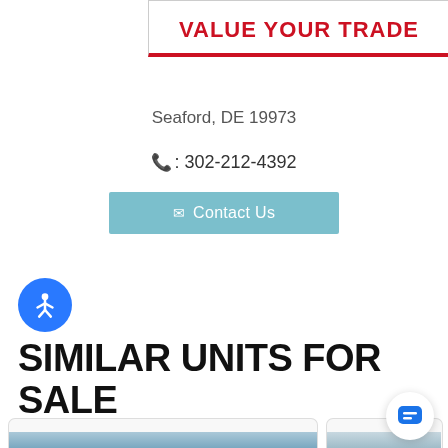VALUE YOUR TRADE
Seaford, DE 19973
: 302-212-4392
Contact Us
[Figure (illustration): Blue circle accessibility icon with white stick figure person with arms outstretched]
SIMILAR UNITS FOR SALE
[Figure (photo): Photo of an RV dealership storefront with large building and RV logo sign]
[Figure (photo): Partial photo of another RV dealership storefront]
[Figure (illustration): Chat bubble icon button in bottom right corner]